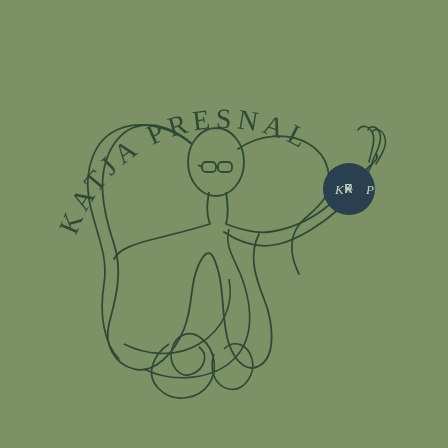[Figure (logo): Katja Presnal brand logo: a line-art illustration of a woman with long flowing wavy hair and glasses, raising one hand. Text 'KATJA PRESNAL' arcs over the top in dark green spaced letters. A dark teal circle with 'K P' (with a snowflake/asterisk between) is held in the woman's raised hand. All rendered in dark green lines on a sage green background.]